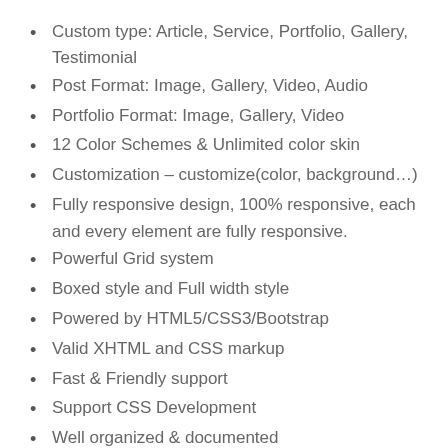Custom type: Article, Service, Portfolio, Gallery, Testimonial
Post Format: Image, Gallery, Video, Audio
Portfolio Format: Image, Gallery, Video
12 Color Schemes & Unlimited color skin
Customization – customize(color, background…)
Fully responsive design, 100% responsive, each and every element are fully responsive.
Powerful Grid system
Boxed style and Full width style
Powered by HTML5/CSS3/Bootstrap
Valid XHTML and CSS markup
Fast & Friendly support
Support CSS Development
Well organized & documented
And more…
Third Party & Premium Modules Integration